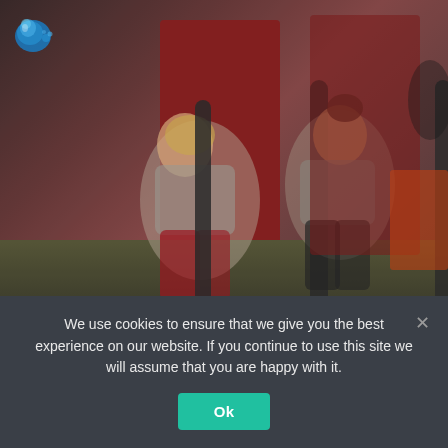[Figure (photo): Two women doing a pushing exercise in a gym, leaning forward gripping upright handles/poles attached to a sled or machine. Background has a dark red panel and gym equipment. A logo (blue droplet shape) is visible in the top left corner.]
We use cookies to ensure that we give you the best experience on our website. If you continue to use this site we will assume that you are happy with it.